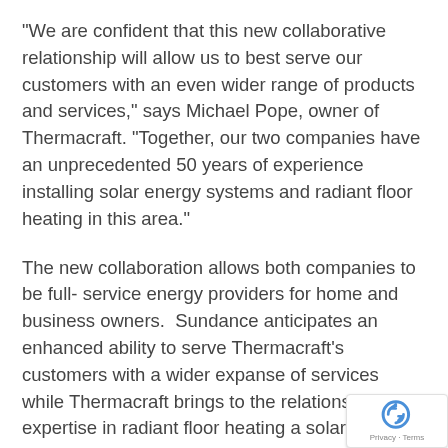“We are confident that this new collaborative relationship will allow us to best serve our customers with an even wider range of products and services,” says Michael Pope, owner of Thermacraft. “Together, our two companies have an unprecedented 50 years of experience installing solar energy systems and radiant floor heating in this area.”
The new collaboration allows both companies to be full- service energy providers for home and business owners.  Sundance anticipates an enhanced ability to serve Thermacraft’s customers with a wider expanse of services while Thermacraft brings to the relationship expertise in radiant floor heating a solar system installations.
[Figure (logo): reCAPTCHA badge with arrow-circle logo and Privacy - Terms text]